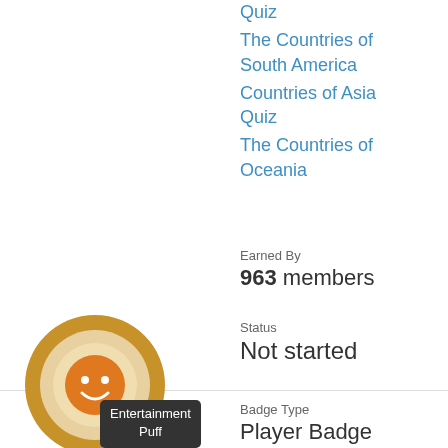Quiz
The Countries of South America
Countries of Asia Quiz
The Countries of Oceania
Earned By
963 members
Status
Not started
[Figure (illustration): Badge icon: circular gold badge with orange face emoji in center, with tooltip label 'Entertainment Puff']
Badge Type
Player Badge
Badge Value
Bronze badge